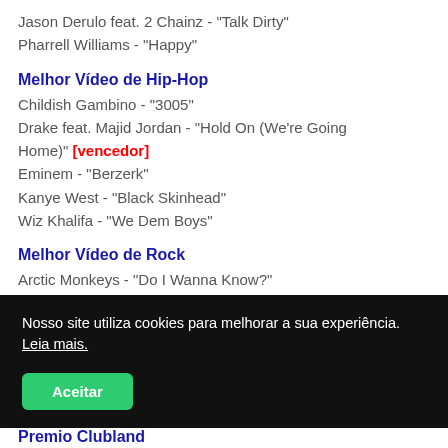Jason Derulo feat. 2 Chainz - "Talk Dirty"
Pharrell Williams - "Happy"
Melhor Vídeo de Hip-Hop
Childish Gambino - "3005"
Drake feat. Majid Jordan - "Hold On (We're Going Home)" [vencedor]
Eminem - "Berzerk"
Kanye West - "Black Skinhead"
Wiz Khalifa - "We Dem Boys"
Melhor Vídeo de Rock
Arctic Monkeys - "Do I Wanna Know?"
Black Keys - "Fever"
Nosso site utiliza cookies para melhorar a sua experiência. Leia mais.
Premio Clubland